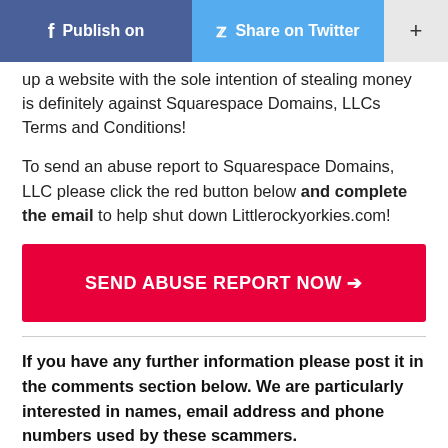Publish on | Share on Twitter | +
up a website with the sole intention of stealing money is definitely against Squarespace Domains, LLCs Terms and Conditions!
To send an abuse report to Squarespace Domains, LLC please click the red button below and complete the email to help shut down Littlerockyorkies.com!
[Figure (other): Red button labeled SEND ABUSE REPORT NOW with arrow]
If you have any further information please post it in the comments section below. We are particularly interested in names, email address and phone numbers used by these scammers.